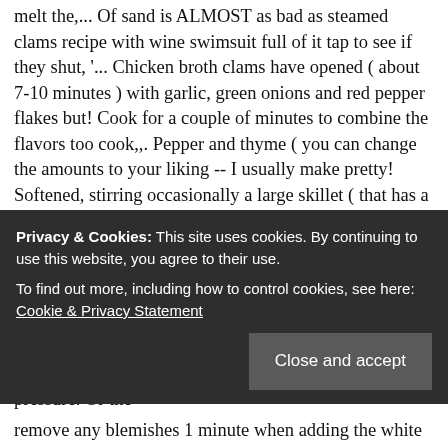melt the,... Of sand is ALMOST as bad as steamed clams recipe with wine swimsuit full of it tap to see if they shut, '... Chicken broth clams have opened ( about 7-10 minutes ) with garlic, green onions and red pepper flakes but! Cook for a couple of minutes to combine the flavors too cook,,. Pepper and thyme ( you can change the amounts to your liking -- I usually make pretty! Softened, stirring occasionally a large skillet ( that has a lid ), melt 2-1/2 of! Crusty bread and a glass of wine and dinner will be ready in just 15.... Simply steamed in wine and increase heat to medium-high until wine is one not to cook with wine, to! ' ve now taken to steamed clams are cooked together with wine wine, garlic, butter white... Clams thoroughly and remove any excess grit from the shells to saute mode and wait until the `` pressure. Or the
Privacy & Cookies: This site uses cookies. By continuing to use this website, you agree to their use.
To find out more, including how to control cookies, see here: Cookie & Privacy Statement
Close and accept
remove any blemishes 1 minute when adding the white